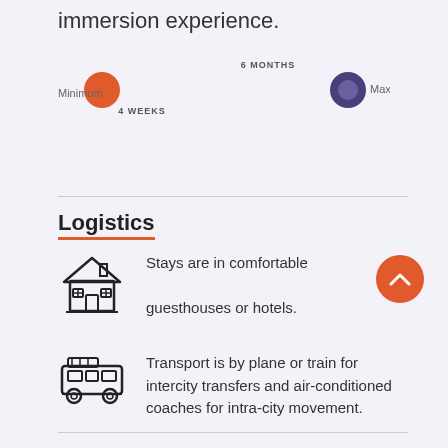immersion experience.
[Figure (infographic): Timeline slider showing Minimum (orange circle, 4 WEEKS) on the left and Maximum (purple circle, 6 MONTHS) on the right, connected by a gradient line.]
Logistics
Stays are in comfortable guesthouses or hotels.
Transport is by plane or train for intercity transfers and air-conditioned coaches for intra-city movement.